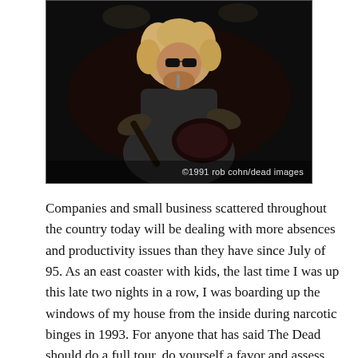[Figure (photo): Black and white concert photo of a musician with curly/wavy hair wearing sunglasses and a dark t-shirt, playing an electric guitar on stage. Photo credit: ©1991 rob cohn/dead images]
Companies and small business scattered throughout the country today will be dealing with more absences and productivity issues than they have since July of 95. As an east coaster with kids, the last time I was up this late two nights in a row, I was boarding up the windows of my house from the inside during narcotic binges in 1993. For anyone that has said The Dead should do a full tour, do yourself a favor and assess how you feel physically right about now. Then, add 20 or 30 years of age and you'll understand why that's not such a wise idea. Sure, I know The Stones are doing it but I think